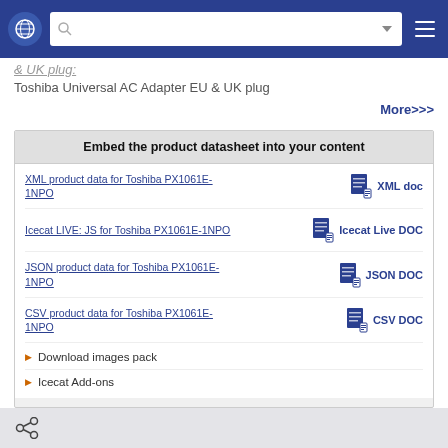Navigation bar with globe icon, search box, filter icon, and hamburger menu
& UK plug:
Toshiba Universal AC Adapter EU & UK plug
More>>>
Embed the product datasheet into your content
XML product data for Toshiba PX1061E-1NPO
XML doc
Icecat LIVE: JS for Toshiba PX1061E-1NPO
Icecat Live DOC
JSON product data for Toshiba PX1061E-1NPO
JSON DOC
CSV product data for Toshiba PX1061E-1NPO
CSV DOC
Download images pack
Icecat Add-ons
Share icon